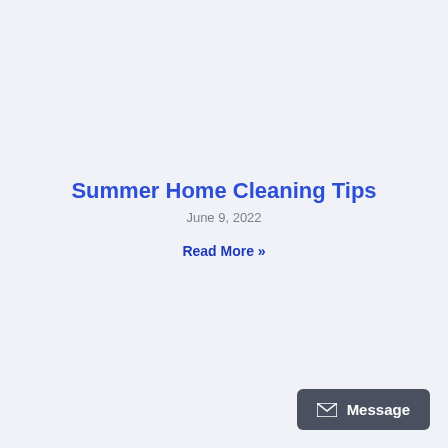Summer Home Cleaning Tips
June 9, 2022
Read More »